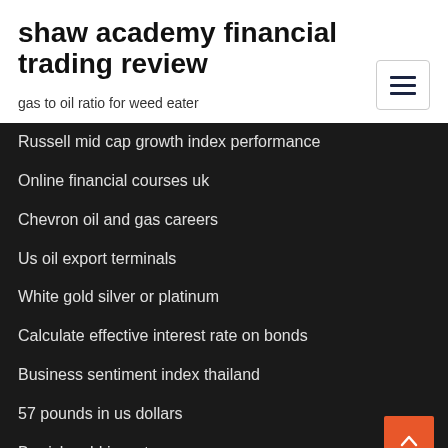shaw academy financial trading review
gas to oil ratio for weed eater
Russell mid cap growth index performance
Online financial courses uk
Chevron oil and gas careers
Us oil export terminals
White gold silver or platinum
Calculate effective interest rate on bonds
Business sentiment index thailand
57 pounds in us dollars
Barrick gold investor news